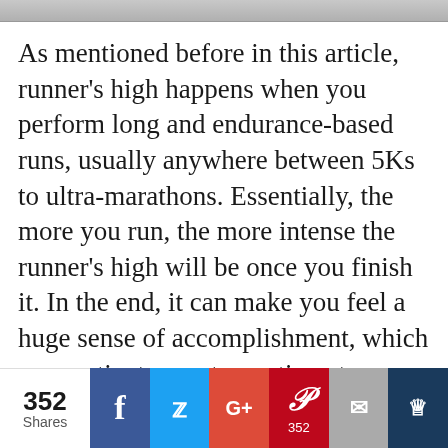[Figure (photo): Partial image strip at the top of the page, showing a grayscale/muted photograph cropped to a thin horizontal band]
As mentioned before in this article, runner’s high happens when you perform long and endurance-based runs, usually anywhere between 5Ks to ultra-marathons. Essentially, the more you run, the more intense the runner’s high will be once you finish it. In the end, it can make you feel a huge sense of accomplishment, which can motivate you to continue to achieve it every single time you lace up and go out for a run.
352 Shares | Facebook | Twitter | G+ | Pinterest 352 | Email | Crown